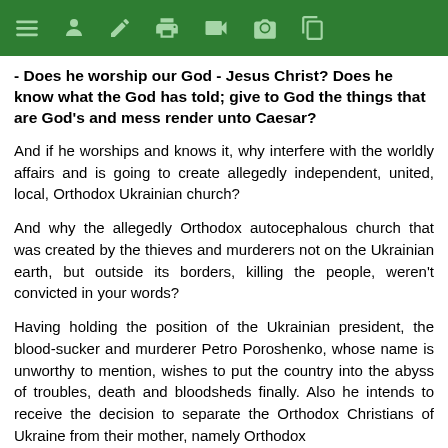[toolbar with navigation icons]
- Does he worship our God - Jesus Christ? Does he know what the God has told; give to God the things that are God's and mess render unto Caesar?
And if he worships and knows it, why interfere with the worldly affairs and is going to create allegedly independent, united, local, Orthodox Ukrainian church?
And why the allegedly Orthodox autocephalous church that was created by the thieves and murderers not on the Ukrainian earth, but outside its borders, killing the people, weren't convicted in your words?
Having holding the position of the Ukrainian president, the blood-sucker and murderer Petro Poroshenko, whose name is unworthy to mention, wishes to put the country into the abyss of troubles, death and bloodsheds finally. Also he intends to receive the decision to separate the Orthodox Christians of Ukraine from their mother, namely Orthodox